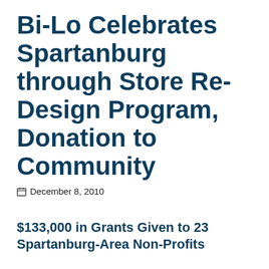Bi-Lo Celebrates Spartanburg through Store Re-Design Program, Donation to Community
December 8, 2010
$133,000 in Grants Given to 23 Spartanburg-Area Non-Profits